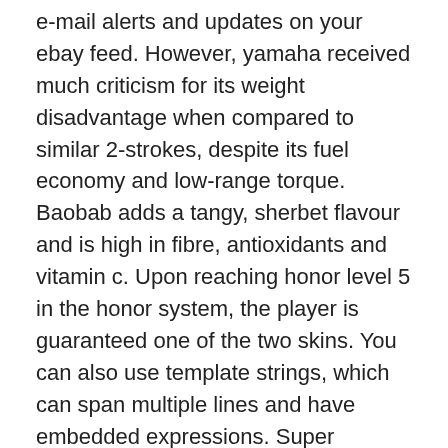e-mail alerts and updates on your ebay feed. However, yamaha received much criticism for its weight disadvantage when compared to similar 2-strokes, despite its fuel economy and low-range torque. Baobab adds a tangy, sherbet flavour and is high in fibre, antioxidants and vitamin c. Upon reaching honor level 5 in the honor system, the player is guaranteed one of the two skins. You can also use template strings, which can span multiple lines and have embedded expressions. Super combos were also replaced with super arts: these were similar in that they were over-the-top moves that used up part of a finite gauge, but the difference here is that each character has three different super art moves that the player has to choose between before a fight. The food is really excellent and fresh, with many vegetarian and vegan options. However, you may submit application form for verification of answer book till 12th sept. The current official match ball supplier is nike who had the contract with epl since. It should be in the shape of a circle with a silhouette of a person inside the circle. Some places will have a certified copy of the record, while others might